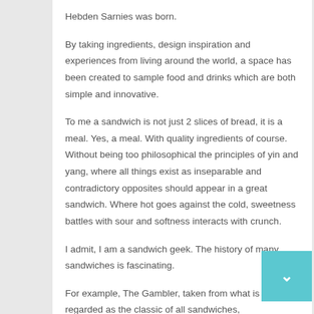Hebden Sarnies was born.
By taking ingredients, design inspiration and experiences from living around the world, a space has been created to sample food and drinks which are both simple and innovative.
To me a sandwich is not just 2 slices of bread, it is a meal. Yes, a meal. With quality ingredients of course. Without being too philosophical the principles of yin and yang, where all things exist as inseparable and contradictory opposites should appear in a great sandwich. Where hot goes against the cold, sweetness battles with sour and softness interacts with crunch.
I admit, I am a sandwich geek. The history of many sandwiches is fascinating.
For example, The Gambler, taken from what is widely regarded as the classic of all sandwiches,